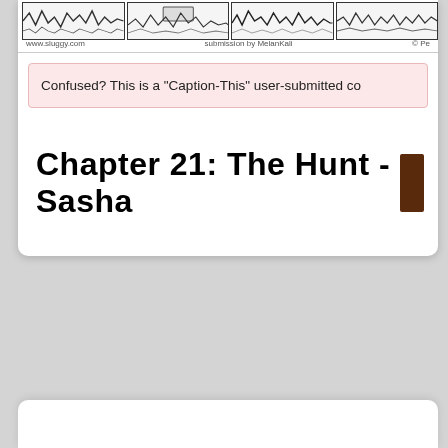[Figure (illustration): Comic strip panels showing sketchy waveform-like artwork across four panels]
www.sluggy.com    submission by MelanKali    © Pe
Confused? This is a "Caption-This" user-submitted co
Chapter 21: The Hunt - Sasha